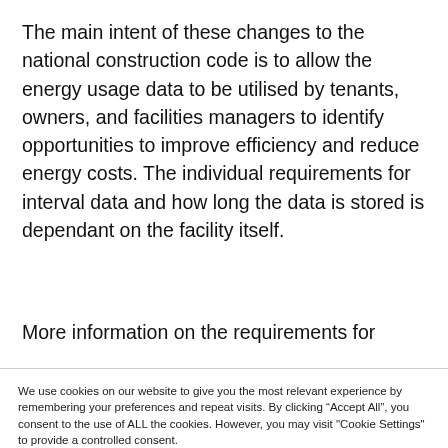The main intent of these changes to the national construction code is to allow the energy usage data to be utilised by tenants, owners, and facilities managers to identify opportunities to improve efficiency and reduce energy costs. The individual requirements for interval data and how long the data is stored is dependant on the facility itself.
More information on the requirements for
We use cookies on our website to give you the most relevant experience by remembering your preferences and repeat visits. By clicking “Accept All”, you consent to the use of ALL the cookies. However, you may visit "Cookie Settings" to provide a controlled consent.